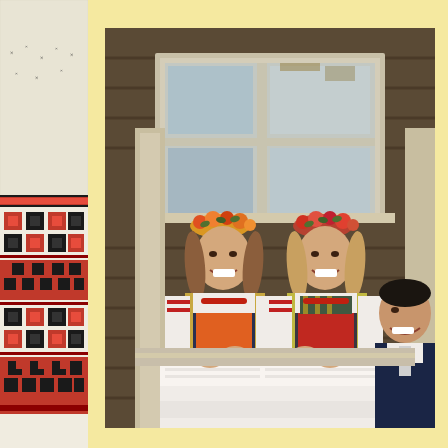[Figure (photo): Close-up of traditional Ukrainian/Eastern European embroidery with red and black geometric patterns on white fabric]
[Figure (photo): Two young girls in traditional Polish/Eastern European folk costumes with flower wreaths on their heads, leaning out of a rustic wooden house window, with a young man in a suit visible to the right]